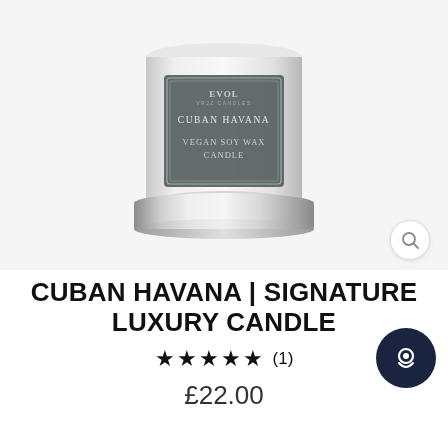[Figure (photo): Product photo of a white and silver cylindrical luxury candle jar with a dark gray label reading 'Cuban Havana, Vegan Soy Wax Candle' and a silver metallic base, photographed from above on a white background.]
CUBAN HAVANA | SIGNATURE LUXURY CANDLE
★★★★★ (1)
£22.00